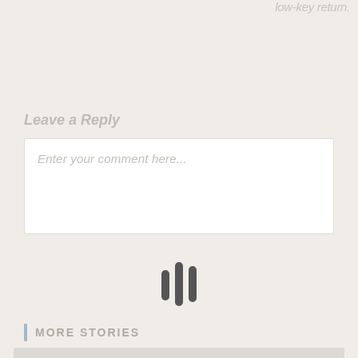low-key return.
Leave a Reply
Enter your comment here...
[Figure (other): Audio waveform icon with three vertical bars of varying heights in dark gray]
MORE STORIES
[Figure (photo): Gray placeholder image area for a story thumbnail]
[Figure (other): Scroll to top button with upward chevron arrow in light blue]